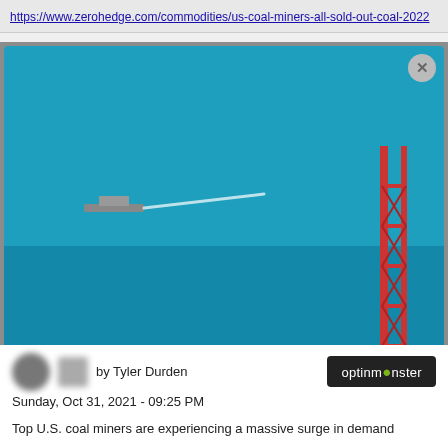https://www.zerohedge.com/commodities/us-coal-miners-all-sold-out-coal-2022
[Figure (screenshot): OilPrice.com popup modal advertisement over an oil rig at sea background. Contains OilPrice logo, headline 'Wait, you haven't signed up!', body text about 25,000+ energy professionals, tagline 'Don't get left behind', and a green 'Sign Up Today!' button. A close (X) button is in the top right corner. optinmonster badge visible below.]
by Tyler Durden
Sunday, Oct 31, 2021 - 09:25 PM
Top U.S. coal miners are experiencing a massive surge in demand